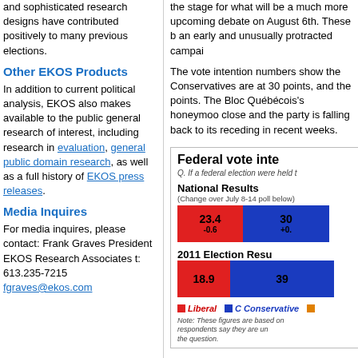EKOS's experience, knowledge and sophisticated research designs have contributed positively to many previous elections.
Other EKOS Products
In addition to current political analysis, EKOS also makes available to the public general research of interest, including research in evaluation, general public domain research, as well as a full history of EKOS press releases.
Media Inquires
For media inquires, please contact: Frank Graves President EKOS Research Associates t: 613.235-7215 fgraves@ekos.com
the stage for what will be a much more upcoming debate on August 6th. These b an early and unusually protracted campai
The vote intention numbers show the Conservatives are at 30 points, and the points. The Bloc Québécois's honeymoo close and the party is falling back to its receding in recent weeks.
[Figure (bar-chart): Federal vote intention chart showing National Results and 2011 Election Results for Liberal and Conservative parties. National Results: Liberal 23.4 (-0.6), Conservative 30 (+0.). 2011 Election Results: Liberal 18.9, Conservative 39.]
Note: These figures are based on respondents say they are un the question.